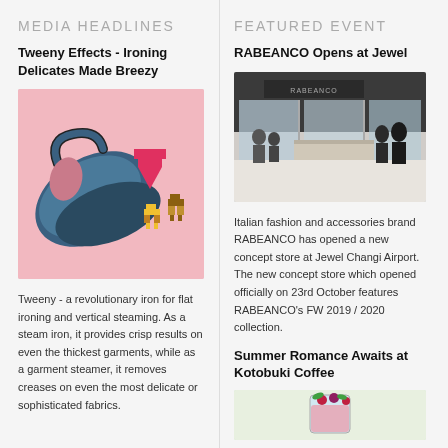MEDIA HEADLINES
Tweeny Effects - Ironing Delicates Made Breezy
[Figure (photo): A blue iron and pixel art clothing figures on a pink background]
Tweeny - a revolutionary iron for flat ironing and vertical steaming. As a steam iron, it provides crisp results on even the thickest garments, while as a garment steamer, it removes creases on even the most delicate or sophisticated fabrics.
FEATURED EVENT
RABEANCO Opens at Jewel
[Figure (photo): Interior of RABEANCO store at Jewel Changi Airport showing glass facade and customers browsing]
Italian fashion and accessories brand RABEANCO has opened a new concept store at Jewel Changi Airport. The new concept store which opened officially on 23rd October features RABEANCO's FW 2019 / 2020 collection.
Summer Romance Awaits at Kotobuki Coffee
[Figure (photo): Colorful drink with berries at Kotobuki Coffee]